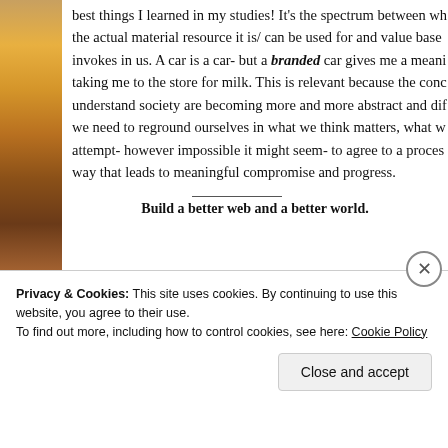[Figure (photo): Vertical strip of a sunset/sunrise photo on the left edge of the page, showing warm orange and golden tones.]
best things I learned in my studies! It's the spectrum between what the actual material resource it is/ can be used for and value based invokes in us. A car is a car- but a branded car gives me a meaning beyond taking me to the store for milk. This is relevant because the concepts we use to understand society are becoming more and more abstract and difficult, and we need to reground ourselves in what we think matters, what we value, and attempt- however impossible it might seem- to agree to a process in a way that leads to meaningful compromise and progress.
Build a better web and a better world.
Privacy & Cookies: This site uses cookies. By continuing to use this website, you agree to their use.
To find out more, including how to control cookies, see here: Cookie Policy